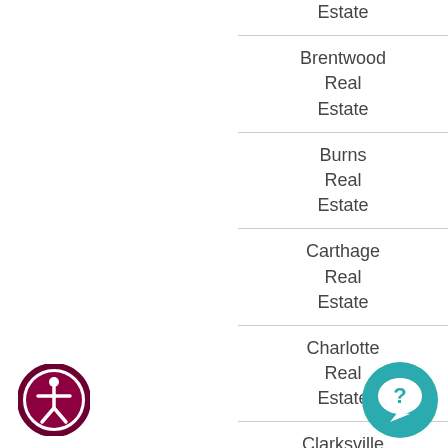Estate
Brentwood Real Estate
Burns Real Estate
Carthage Real Estate
Charlotte Real Estate
Clarksville Real Estate
[Figure (illustration): Accessibility icon: circular badge with human figure symbol, dark pink/maroon gradient border]
[Figure (illustration): Chat/support icon: teal circle with white speech bubble and question mark symbol]